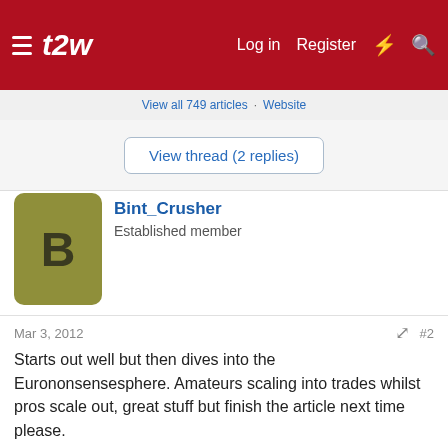t2w  Log in  Register
View all 749 articles · Website
View thread (2 replies)
Bint_Crusher
Established member
Mar 3, 2012  #2
Starts out well but then dives into the Eurononsensesphere. Amateurs scaling into trades whilst pros scale out, great stuff but finish the article next time please.